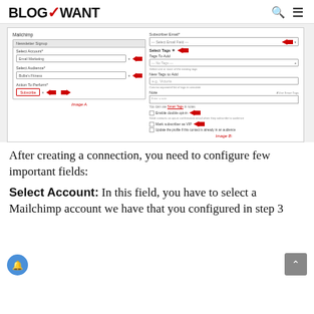BLOGWANT
[Figure (screenshot): Screenshot of Mailchimp integration configuration panel showing two panels: left panel with Newsletter Signup section containing Select Account (Email Marketing), Select Audience (Bullie's Fitness), and Action To Perform (Subscribe) fields with red arrows; right panel with Subscriber Email, Select Tags, Tags To Add, New Tags to Add, Note, Enable double opt-in, Mark subscriber as VIP, and Update the profile fields with red arrows. Labels Image A and Image B are shown.]
After creating a connection, you need to configure few important fields:
Select Account: In this field, you have to select a Mailchimp account we have that you configured in step 3